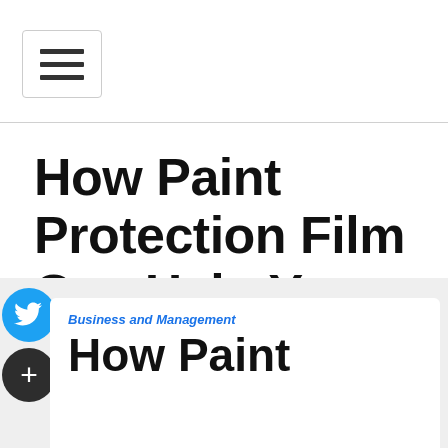[Figure (other): Hamburger menu icon button with three horizontal lines inside a rounded rectangle border]
How Paint Protection Film Can Help Your Car
[Figure (other): Facebook social share button (blue circle with f)]
[Figure (other): Google+ social share button (red circle with g+)]
[Figure (other): Twitter social share button (blue circle with bird icon)]
[Figure (other): More/share button (dark circle with plus icon)]
Business and Management
How Paint